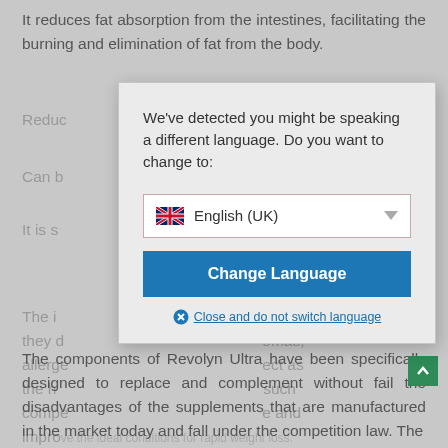It reduces fat absorption from the intestines, facilitating the burning and elimination of fat from the body.
Reduc[...]
Can b[...]
It is s[...] and wome[...]
The i[...] cause they d[...] omas, allerge[...] ect as the h[...] such compe[...] e and impro[...] the ideal conditions for rapid weight loss.
[Figure (screenshot): A browser modal dialog overlaying a webpage. The dialog reads: 'We've detected you might be speaking a different language. Do you want to change to:' with a dropdown showing 'English (UK)' with a UK flag, a blue 'Change Language' button, and a 'Close and do not switch language' link with an X icon.]
The components of Revolyn Ultra have been specifically designed to replace and complement without fail the disadvantages of the supplements that are manufactured in the market today and fall under the competition law. The